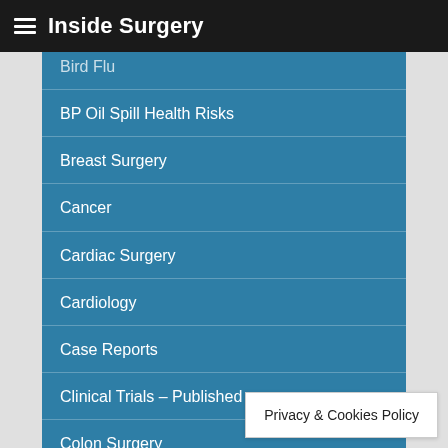Inside Surgery
Bird Flu
BP Oil Spill Health Risks
Breast Surgery
Cancer
Cardiac Surgery
Cardiology
Case Reports
Clinical Trials – Published
Colon Surgery
Complementary and Alternative Medicine
Coronavirus
Critical Care
Dental and Oral Surgery
Privacy & Cookies Policy